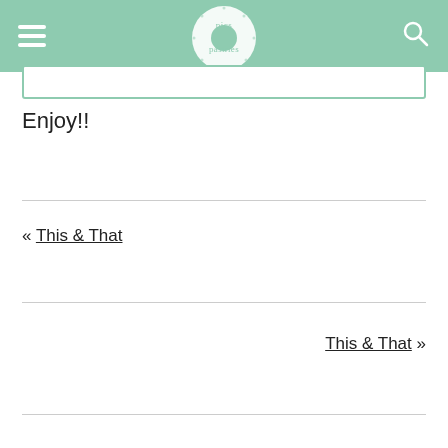pics pastries — navigation header with logo, hamburger menu, and search icon
Enjoy!!
« This & That
This & That »